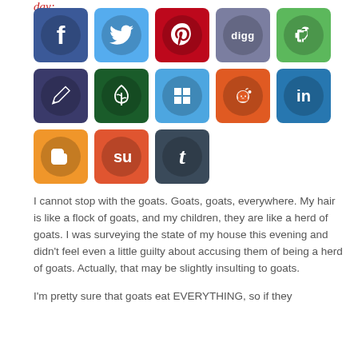day:
[Figure (infographic): Grid of 13 social media sharing buttons: Facebook, Twitter, Pinterest, Digg, Evernote (row 1); Pencil/edit, Feedburner/plant, Squarespace, Reddit, LinkedIn (row 2); Blogger, StumbleUpon, Tumblr (row 3)]
I cannot stop with the goats. Goats, goats, everywhere. My hair is like a flock of goats, and my children, they are like a herd of goats. I was surveying the state of my house this evening and didn't feel even a little guilty about accusing them of being a herd of goats. Actually, that may be slightly insulting to goats.
I'm pretty sure that goats eat EVERYTHING, so if they